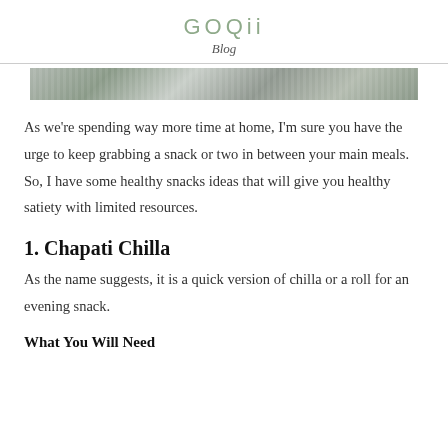GOQii
Blog
[Figure (photo): A textured stone or marble banner image at the top of the blog article]
As we're spending way more time at home, I'm sure you have the urge to keep grabbing a snack or two in between your main meals. So, I have some healthy snacks ideas that will give you healthy satiety with limited resources.
1. Chapati Chilla
As the name suggests, it is a quick version of chilla or a roll for an evening snack.
What You Will Need